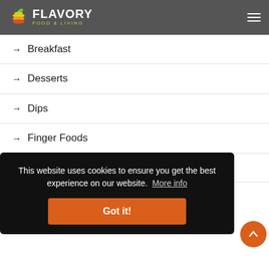FLAVORY FOOD & LIVING
→ Breakfast
→ Desserts
→ Dips
→ Finger Foods
→ Salads
This website uses cookies to ensure you get the best experience on our website. More info
Got it!